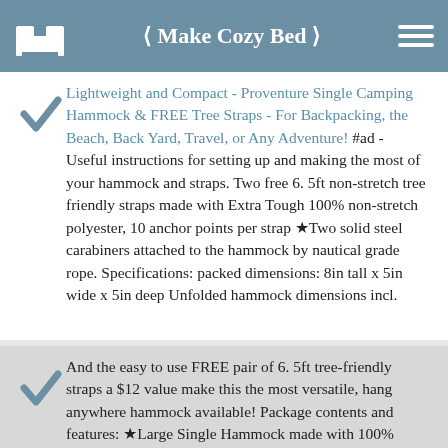< Make Cozy Bed >
Lightweight and Compact - Proventure Single Camping Hammock & FREE Tree Straps - For Backpacking, the Beach, Back Yard, Travel, or Any Adventure! #ad - Useful instructions for setting up and making the most of your hammock and straps. Two free 6. 5ft non-stretch tree friendly straps made with Extra Tough 100% non-stretch polyester, 10 anchor points per strap ★Two solid steel carabiners attached to the hammock by nautical grade rope. Specifications: packed dimensions: 8in tall x 5in wide x 5in deep Unfolded hammock dimensions incl.
And the easy to use FREE pair of 6. 5ft tree-friendly straps a $12 value make this the most versatile, hang anywhere hammock available! Package contents and features: ★Large Single Hammock made with 100% High-Strength Nylon 210T, quick-